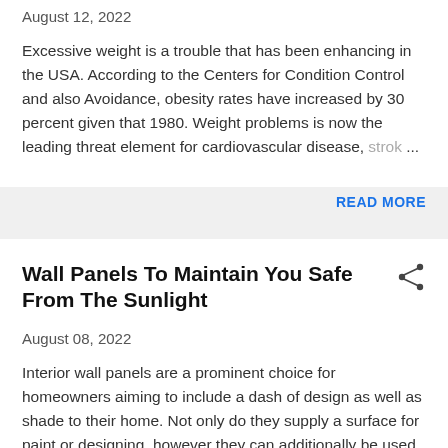August 12, 2022
Excessive weight is a trouble that has been enhancing in the USA. According to the Centers for Condition Control and also Avoidance, obesity rates have increased by 30 percent given that 1980. Weight problems is now the leading threat element for cardiovascular disease, strok…
READ MORE
Wall Panels To Maintain You Safe From The Sunlight
August 08, 2022
Interior wall panels are a prominent choice for homeowners aiming to include a dash of design as well as shade to their home. Not only do they supply a surface for paint or designing, however they can additionally be used to produce